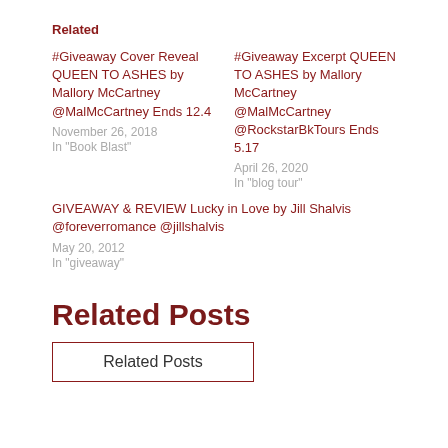Related
#Giveaway Cover Reveal QUEEN TO ASHES by Mallory McCartney @MalMcCartney Ends 12.4
November 26, 2018
In "Book Blast"
#Giveaway Excerpt QUEEN TO ASHES by Mallory McCartney @MalMcCartney @RockstarBkTours Ends 5.17
April 26, 2020
In "blog tour"
GIVEAWAY & REVIEW Lucky in Love by Jill Shalvis @foreverromance @jillshalvis
May 20, 2012
In "giveaway"
Related Posts
Related Posts